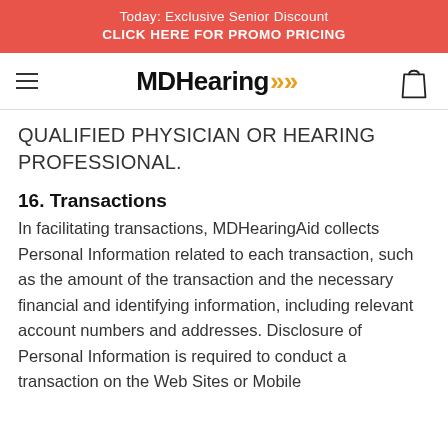Today: Exclusive Senior Discount
CLICK HERE FOR PROMO PRICING
[Figure (logo): MDHearing logo with orange chevrons, hamburger menu icon on left, shopping bag icon on right]
QUALIFIED PHYSICIAN OR HEARING PROFESSIONAL.
16. Transactions
In facilitating transactions, MDHearingAid collects Personal Information related to each transaction, such as the amount of the transaction and the necessary financial and identifying information, including relevant account numbers and addresses. Disclosure of Personal Information is required to conduct a transaction on the Web Sites or Mobile